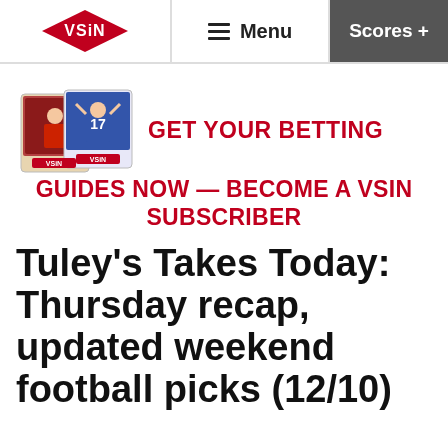VSiN | Menu | Scores +
[Figure (logo): VSiN logo (red diamond shape with VSiN text in white) and navigation bar with Menu hamburger icon and Scores + button]
GET YOUR BETTING GUIDES NOW — BECOME A VSIN SUBSCRIBER
Tuley's Takes Today: Thursday recap, updated weekend football picks (12/10)